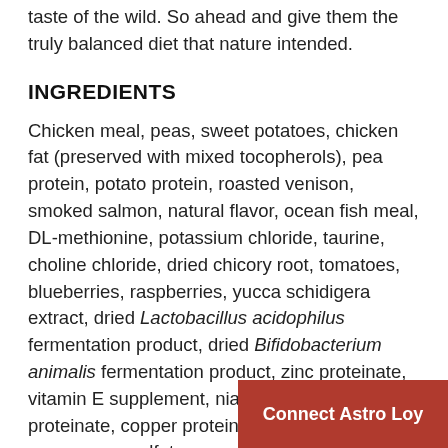taste of the wild. So ahead and give them the truly balanced diet that nature intended.
INGREDIENTS
Chicken meal, peas, sweet potatoes, chicken fat (preserved with mixed tocopherols), pea protein, potato protein, roasted venison, smoked salmon, natural flavor, ocean fish meal, DL-methionine, potassium chloride, taurine, choline chloride, dried chicory root, tomatoes, blueberries, raspberries, yucca schidigera extract, dried Lactobacillus acidophilus fermentation product, dried Bifidobacterium animalis fermentation product, zinc proteinate, vitamin E supplement, niacin, manganese proteinate, copper proteinate, zinc sulfate, manganese sulfate, copper sulfate, thiamine mononitrate (vitamin B1), vitamin A supplement, biotin, potassium iodide, calcium pantothenate, riboflavin (vitamin B2...
Connect Astro Loy